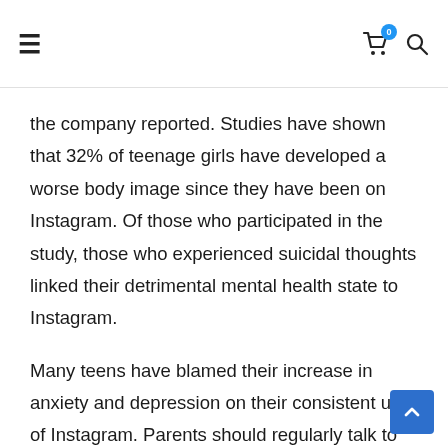≡ [cart icon with badge 0] [search icon]
the company reported. Studies have shown that 32% of teenage girls have developed a worse body image since they have been on Instagram. Of those who participated in the study, those who experienced suicidal thoughts linked their detrimental mental health state to Instagram.
Many teens have blamed their increase in anxiety and depression on their consistent use of Instagram. Parents should regularly talk to their teens regarding their self-image and their social media activity. While this article is in no way to